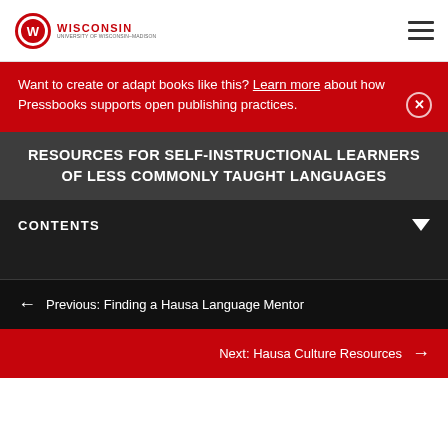[Figure (logo): University of Wisconsin logo with crest and WISCONSIN text in red]
Want to create or adapt books like this? Learn more about how Pressbooks supports open publishing practices.
RESOURCES FOR SELF-INSTRUCTIONAL LEARNERS OF LESS COMMONLY TAUGHT LANGUAGES
CONTENTS
← Previous: Finding a Hausa Language Mentor
Next: Hausa Culture Resources →